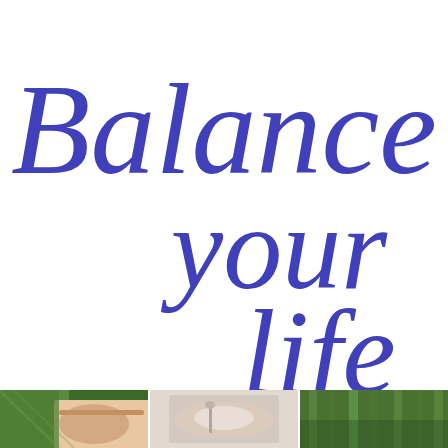Balance your life
[Figure (photo): Three photographs at the bottom of the page showing wellness/nature scenes: left panel shows a green forest/nature scene with skin/hands, center panel shows a massage or wellness treatment, right panel shows a green bamboo or forest scene.]